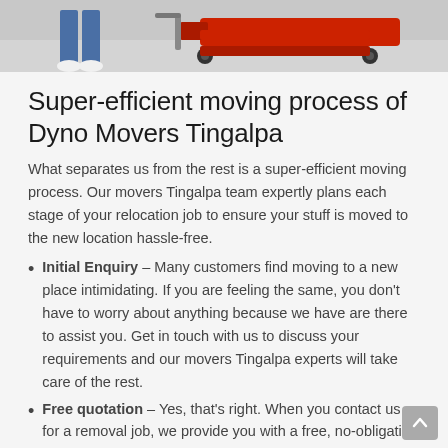[Figure (photo): Photo of a red pallet jack/hand truck being used, with a person's legs visible in the background on a tiled floor.]
Super-efficient moving process of Dyno Movers Tingalpa
What separates us from the rest is a super-efficient moving process. Our movers Tingalpa team expertly plans each stage of your relocation job to ensure your stuff is moved to the new location hassle-free.
Initial Enquiry – Many customers find moving to a new place intimidating. If you are feeling the same, you don't have to worry about anything because we have are there to assist you. Get in touch with us to discuss your requirements and our movers Tingalpa experts will take care of the rest.
Free quotation – Yes, that's right. When you contact us for a removal job, we provide you with a free, no-obligation quote.
Finalize the moving date – The next step is to finalize the moving date. Once you have received a free quote and decide to hire our movers Tingalpa service, we request you to book